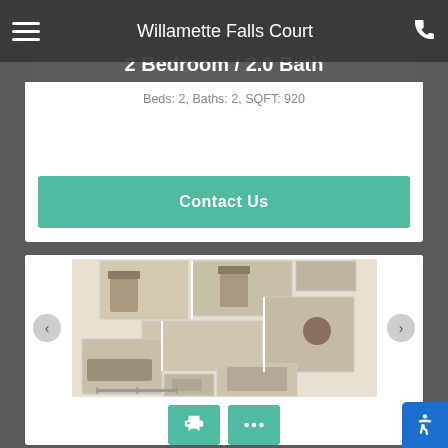Willamette Falls Court
2 Bedroom / 2.0 Bath
Beds: 2, Baths: 2, SQFT: 920
Contact Us
[Figure (illustration): 2 bedroom 2 bath apartment floor plan showing room layout with furniture]
[Figure (infographic): Print icon button and ellipsis (more options) button in teal color]